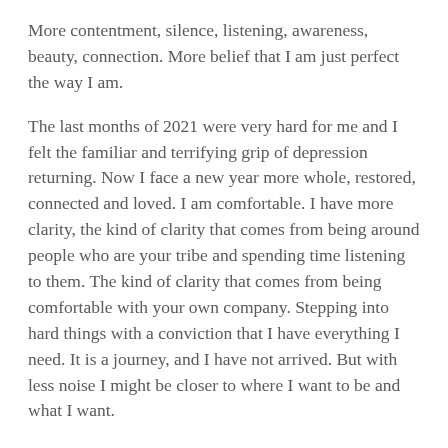More contentment, silence, listening, awareness, beauty, connection. More belief that I am just perfect the way I am.
The last months of 2021 were very hard for me and I felt the familiar and terrifying grip of depression returning. Now I face a new year more whole, restored, connected and loved. I am comfortable. I have more clarity, the kind of clarity that comes from being around people who are your tribe and spending time listening to them. The kind of clarity that comes from being comfortable with your own company. Stepping into hard things with a conviction that I have everything I need. It is a journey, and I have not arrived. But with less noise I might be closer to where I want to be and what I want.